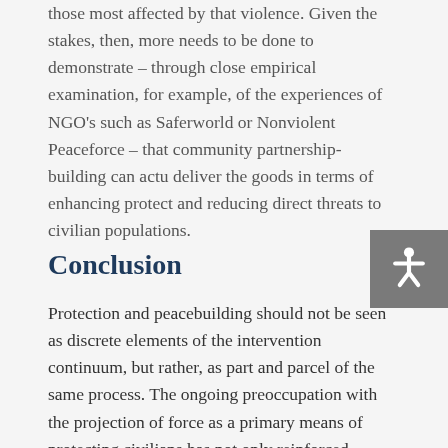those most affected by that violence. Given the stakes, then, more needs to be done to demonstrate – through close empirical examination, for example, of the experiences of NGO's such as Saferworld or Nonviolent Peaceforce – that community partnership-building can actually deliver the goods in terms of enhancing protection and reducing direct threats to civilian populations.
Conclusion
Protection and peacebuilding should not be seen as discrete elements of the intervention continuum, but rather, as part and parcel of the same process. The ongoing preoccupation with the projection of force as a primary means of protecting civilians has not only reinforced gendered stereotypes around who protects and who needs protection, but it has also obscured the broader insight that